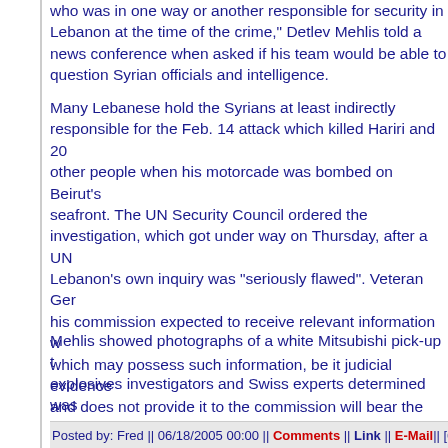who was in one way or another responsible for security in Lebanon at the time of the crime," Detlev Mehlis told a news conference when asked if his team would be able to question Syrian officials and intelligence.
Many Lebanese hold the Syrians at least indirectly responsible for the Feb. 14 attack which killed Hariri and 20 other people when his motorcade was bombed on Beirut's seafront. The UN Security Council ordered the investigation, which got under way on Thursday, after a UN Lebanon's own inquiry was "seriously flawed". Veteran Ger his commission expected to receive relevant information w which may possess such information, be it judicial evidence and does not provide it to the commission will bear the res our efforts to establish the truth," he said.
Mehlis showed photographs of a white Mitsubishi pick-up t explosives investigators and Swiss experts determined was It was not yet clear whether the truck was moving or parke said. Mehlis said his was a police and judicial investigation to Lebanon's judiciary, which would decide on further move arrests. He said Lebanon had cooperated and supported h will also investigate how the crime scene was handled, wh way," he said.
Posted by: Fred || 06/18/2005 00:00 || Comments || Link || E-Mail|| [6468 view